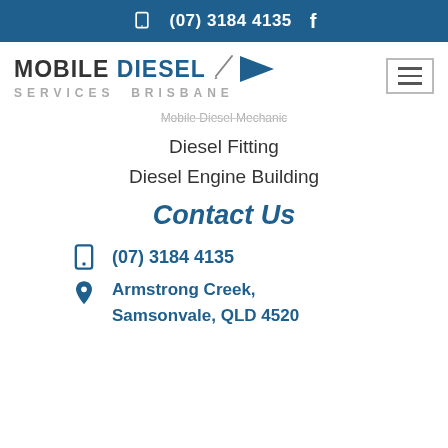(07) 3184 4135
[Figure (logo): Mobile Diesel Services Brisbane logo with triangle emblem and pen/pencil icon]
Mobile Diesel Mechanic
Diesel Fitting
Diesel Engine Building
Contact Us
(07) 3184 4135
Armstrong Creek, Samsonvale, QLD 4520